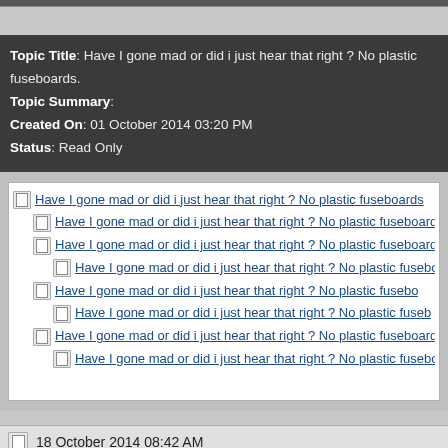Topic Title: Have I gone mad or did i just hear that right ? No plastic fuseboards.
Topic Summary:
Created On: 01 October 2014 03:20 PM
Status: Read Only
Have I gone mad or did i just hear that right ? No plastic fuseboards... (indented list of thread replies)
18 October 2014 08:42 AM
davezawadi
Posts: 4259
There is something completely wrong with these causing fires then there would be many boards f... and we would all have seen them quite regularly, experience these are quite rare, so I question the